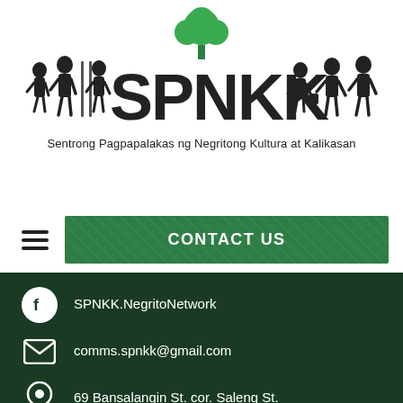[Figure (logo): SPNKK logo with green tree above, silhouette figures on both sides of bold 'SPNKK' text, and subtitle 'Sentrong Pagpapalakas ng Negritong Kultura at Kalikasan']
CONTACT US
SPNKK.NegritoNetwork
comms.spnkk@gmail.com
69 Bansalangin St. cor. Saleng St.
Veterans Village, 1105
Quezon City, Philippines